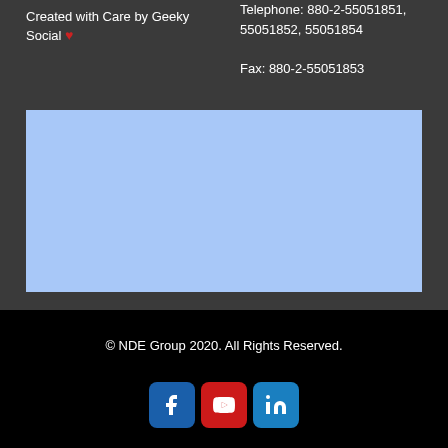Created with Care by Geeky Social ♥
Telephone: 880-2-55051851, 55051852, 55051854

Fax: 880-2-55051853
[Figure (other): Light blue rectangular placeholder box]
© NDE Group 2020. All Rights Reserved.
[Figure (other): Social media icons: Facebook (blue), YouTube (red), LinkedIn (blue)]